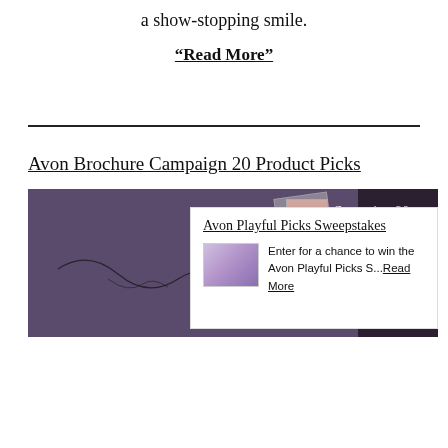a show-stopping smile.
“Read More”
Avon Brochure Campaign 20 Product Picks
[Figure (photo): Avon Campaign 20 brochure on a purple/dark background with tape, small product image strip on the side, and a crack/line pattern overlay. A popup card overlaid showing Avon Playful Picks Sweepstakes with a small product thumbnail and text.]